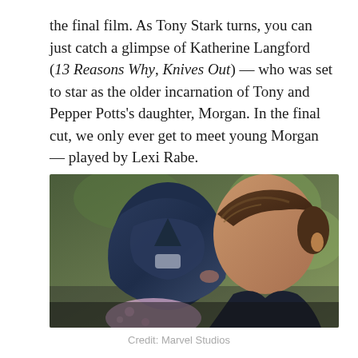the final film. As Tony Stark turns, you can just catch a glimpse of Katherine Langford (13 Reasons Why, Knives Out) — who was set to star as the older incarnation of Tony and Pepper Potts's daughter, Morgan. In the final cut, we only ever get to meet young Morgan — played by Lexi Rabe.
[Figure (photo): A scene from Avengers: Endgame showing a person in a blue Iron Man helmet being kissed by a man with curly brown hair, outdoors with blurred green foliage in the background.]
Credit: Marvel Studios